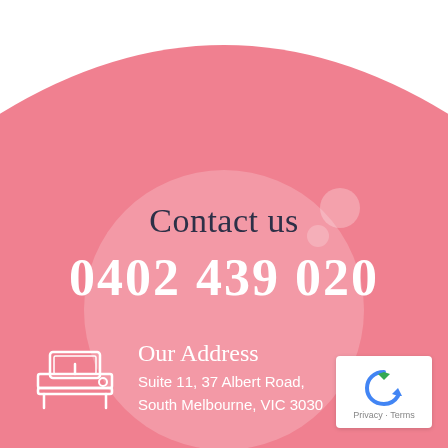[Figure (illustration): Pink rounded-top background with translucent bubble/circle overlay and small bubble accents]
Contact us
0402 439 020
[Figure (illustration): Line-art icon of a bed/desk with a monitor]
Our Address
Suite 11, 37 Albert Road,
South Melbourne, VIC 3030
[Figure (logo): Google reCAPTCHA badge with Privacy and Terms text]